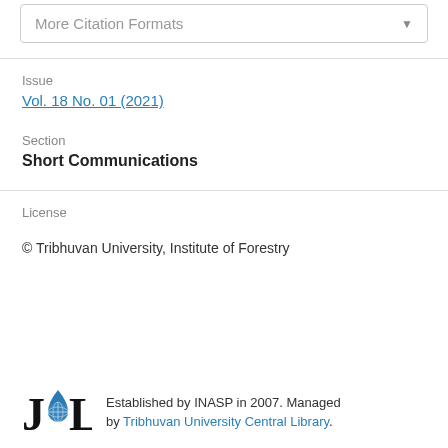More Citation Formats
Issue
Vol. 18 No. 01 (2021)
Section
Short Communications
License
© Tribhuvan University, Institute of Forestry
Established by INASP in 2007. Managed by Tribhuvan University Central Library.